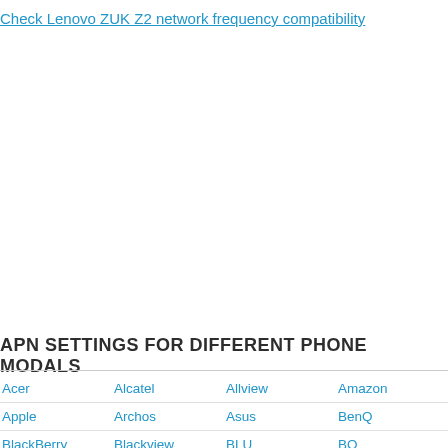Check Lenovo ZUK Z2 network frequency compatibility
APN SETTINGS FOR DIFFERENT PHONE MODALS
| Acer | Alcatel | Allview | Amazon |
| Apple | Archos | Asus | BenQ |
| BlackBerry | Blackview | BLU | BQ |